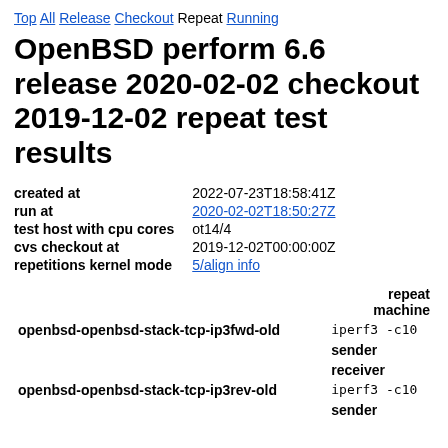Top All Release Checkout Repeat Running
OpenBSD perform 6.6 release 2020-02-02 checkout 2019-12-02 repeat test results
|  |  |
| --- | --- |
| created at | 2022-07-23T18:58:41Z |
| run at | 2020-02-02T18:50:27Z |
| test host with cpu cores | ot14/4 |
| cvs checkout at | 2019-12-02T00:00:00Z |
| repetitions kernel mode | 5/align info |
|  | repeat machine |
| --- | --- |
| openbsd-openbsd-stack-tcp-ip3fwd-old | iperf3 -c10 |
|  | sender |
|  | receiver |
| openbsd-openbsd-stack-tcp-ip3rev-old | iperf3 -c10 |
|  | sender |